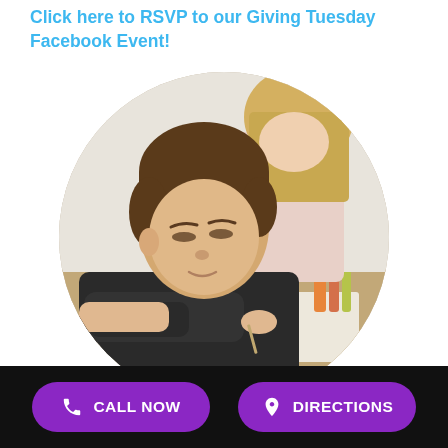Click here to RSVP to our Giving Tuesday Facebook Event!
[Figure (photo): A young boy in a dark shirt leaning over a table drawing or writing, with a girl in a striped shirt visible in the background, both at a classroom or art table. The image is cropped in a circular frame.]
CALL NOW
DIRECTIONS